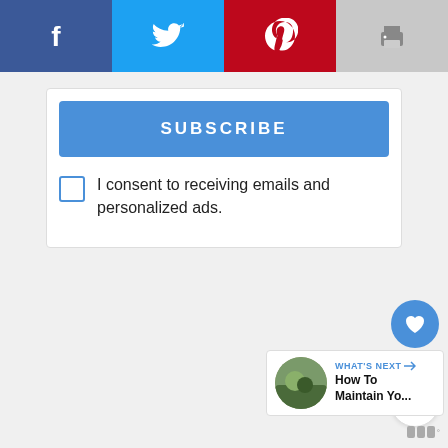[Figure (infographic): Social share bar with Facebook (dark blue), Twitter (light blue), Pinterest (red), and Print (gray) buttons across the top]
SUBSCRIBE
I consent to receiving emails and personalized ads.
[Figure (infographic): Like button (heart icon, blue circle) with count 3.3K and a share button (white circle with share icon)]
[Figure (infographic): What's Next card with thumbnail image and text 'How To Maintain Yo...']